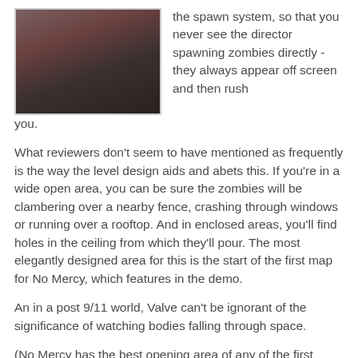[Figure (photo): A dark, low-resolution photograph of a person's face/head, partially visible.]
the spawn system, so that you never see the director spawning zombies directly - they always appear off screen and then rush you.
What reviewers don't seem to have mentioned as frequently is the way the level design aids and abets this. If you're in a wide open area, you can be sure the zombies will be clambering over a nearby fence, crashing through windows or running over a rooftop. And in enclosed areas, you'll find holes in the ceiling from which they'll pour. The most elegantly designed area for this is the start of the first map for No Mercy, which features in the demo.
An in a post 9/11 world, Valve can't be ignorant of the significance of watching bodies falling through space.
(No Mercy has the best opening area of any of the first maps. For the best opening sequence of a final map, you'll need to play through Dead Air. At which point one of my fellow players yelled Game Over man, Game Over! the